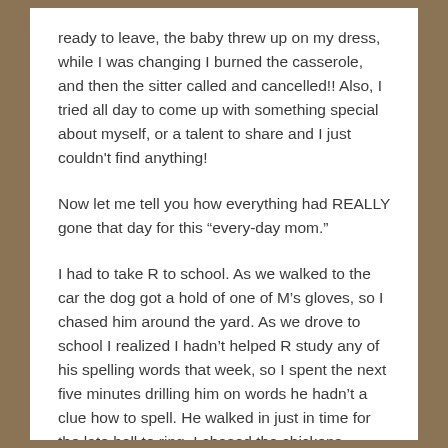ready to leave, the baby threw up on my dress, while I was changing I burned the casserole, and then the sitter called and cancelled!! Also, I tried all day to come up with something special about myself, or a talent to share and I just couldn't find anything!
Now let me tell you how everything had REALLY gone that day for this “every-day mom.”
I had to take R to school. As we walked to the car the dog got a hold of one of M’s gloves, so I chased him around the yard. As we drove to school I realized I hadn’t helped R study any of his spelling words that week, so I spent the next five minutes drilling him on words he hadn’t a clue how to spell. He walked in just in time for the late bell to ring. I chased the chickens around the yard to herd them back into their coop before the dog had one for a snack. Dinner was totally lousy because I hadn’t been to the grocery store in